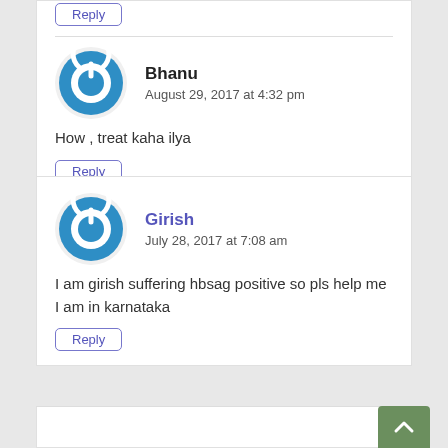Reply
Bhanu
August 29, 2017 at 4:32 pm
How , treat kaha ilya
Reply
Girish
July 28, 2017 at 7:08 am
I am girish suffering hbsag positive so pls help me I am in karnataka
Reply